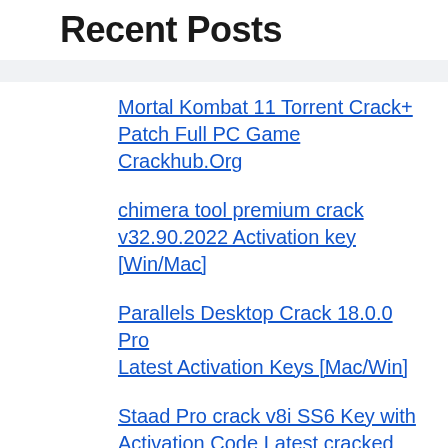Recent Posts
Mortal Kombat 11 Torrent Crack+ Patch Full PC Game Crackhub.Org
chimera tool premium crack v32.90.2022 Activation key [Win/Mac]
Parallels Desktop Crack 18.0.0 Pro Latest Activation Keys [Mac/Win]
Staad Pro crack v8i SS6 Key with Activation Code Latest cracked